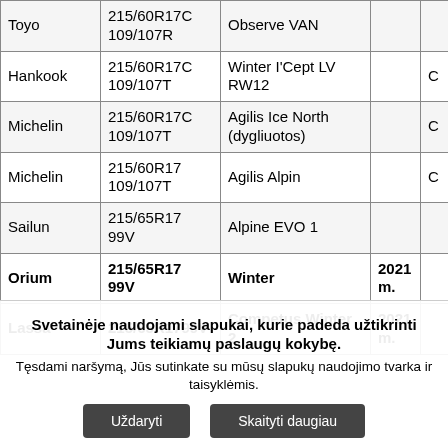| Brand | Size | Model | Year | Rating |
| --- | --- | --- | --- | --- |
| Toyo | 215/60R17C 109/107R | Observe VAN |  |  |
| Hankook | 215/60R17C 109/107T | Winter I'Cept LV RW12 |  | C |
| Michelin | 215/60R17C 109/107T | Agilis Ice North (dygliuotos) |  | C |
| Michelin | 215/60R17 109/107T | Agilis Alpin |  | C |
| Sailun | 215/65R17 99V | Alpine EVO 1 |  |  |
| Orium | 215/65R17 99V | Winter | 2021 m. |  |
| Lassa | 215/65R1799V | Competus Winter 2 | 2021 m. |  |
Svetainėje naudojami slapukai, kurie padeda užtikrinti Jums teikiamų paslaugų kokybę. Tęsdami naršymą, Jūs sutinkate su mūsų slapukų naudojimo tvarka ir taisyklėmis.